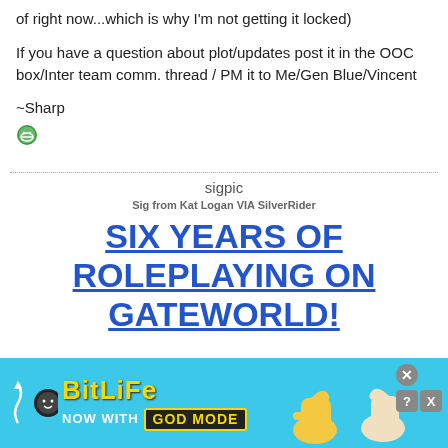of right now...which is why I'm not getting it locked)
If you have a question about plot/updates post it in the OOC box/Inter team comm. thread / PM it to Me/Gen Blue/Vincent
~Sharp
[Figure (illustration): Green smiley face emoji]
sigpic
Sig from Kat Logan VIA SilverRider
SIX YEARS OF ROLEPLAYING ON GATEWORLD!
[Figure (infographic): BitLife ad banner with yellow text on cyan background: BitLife NOW WITH GOD MODE, with thumbs up hand graphic and close/help/X buttons]